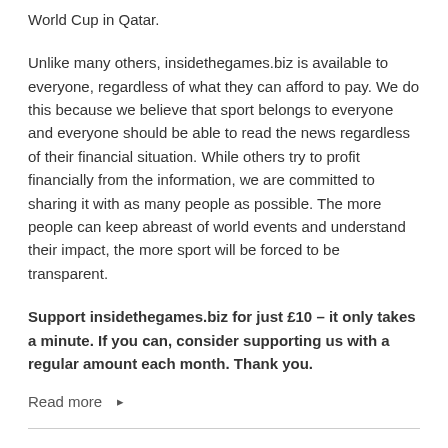World Cup in Qatar.
Unlike many others, insidethegames.biz is available to everyone, regardless of what they can afford to pay. We do this because we believe that sport belongs to everyone and everyone should be able to read the news regardless of their financial situation. While others try to profit financially from the information, we are committed to sharing it with as many people as possible. The more people can keep abreast of world events and understand their impact, the more sport will be forced to be transparent.
Support insidethegames.biz for just £10 – it only takes a minute. If you can, consider supporting us with a regular amount each month. Thank you.
Read more →